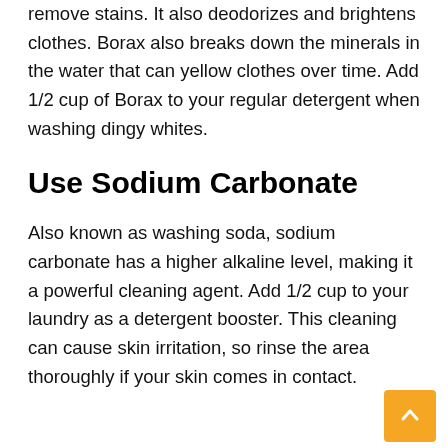remove stains. It also deodorizes and brightens clothes. Borax also breaks down the minerals in the water that can yellow clothes over time. Add 1/2 cup of Borax to your regular detergent when washing dingy whites.
Use Sodium Carbonate
Also known as washing soda, sodium carbonate has a higher alkaline level, making it a powerful cleaning agent. Add 1/2 cup to your laundry as a detergent booster. This cleaning can cause skin irritation, so rinse the area thoroughly if your skin comes in contact.